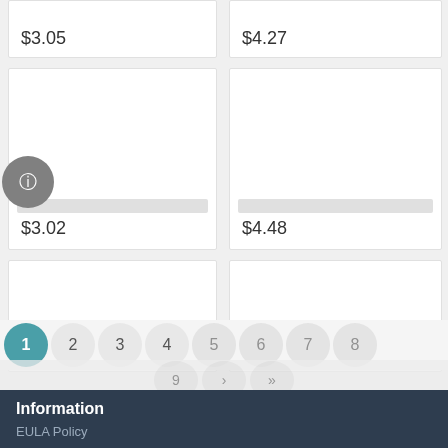$3.05
$4.27
$3.02
$4.48
$10.84
$12.90
1 2 3 4 5 6 7 8 9
Information
EULA Policy